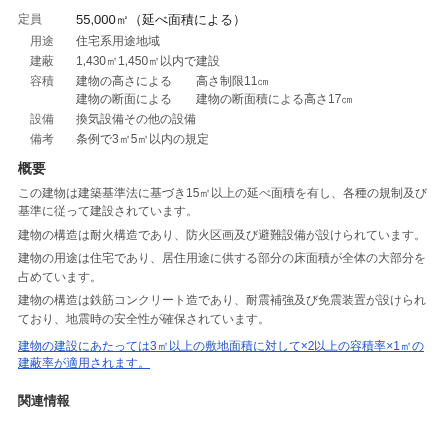定員　55,000㎡（延べ面積による）
用途　住宅系用途地域
建蔽　1,430㎡1,450㎡以内で建設
容積　建物の高さによる　　高さ制限11㎝
建物の断面による　　建物の断面積による高さ17㎝
設備　換気設備その他の設備
備考　条例で3㎡5㎡以内の規定
概要
この建物は建築基準法に基づき15㎡以上の延べ面積を有し、各種の規制及び基準に従って建設されています。
建物の構造は耐火構造であり、防火区画及び避難設備が設けられています。
建物の用途は住宅であり、居住用途に供する部分の床面積が全体の大部分を占めています。
建物の構造は鉄筋コンクリート造であり、耐震補強及び免震装置が設けられており、地震時の安全性が確保されています。
建物の建設にあたっては3㎡以上の敷地面積に対して×2以上の容積率×1㎡の建蔽率が適用されます。
関連情報